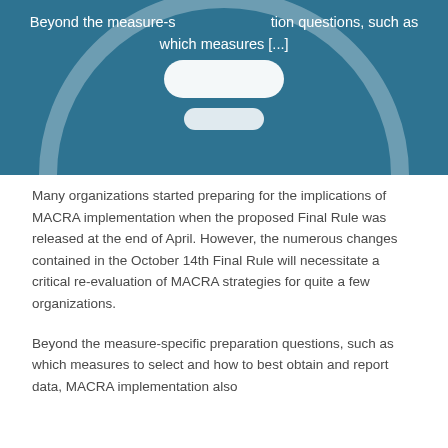[Figure (infographic): Teal/dark blue background header section with a large white circle outline and white pill/capsule shapes inside. White text overlay reads: 'Beyond the measure-specific preparation questions, such as which measures [...]']
Many organizations started preparing for the implications of MACRA implementation when the proposed Final Rule was released at the end of April. However, the numerous changes contained in the October 14th Final Rule will necessitate a critical re-evaluation of MACRA strategies for quite a few organizations.
Beyond the measure-specific preparation questions, such as which measures to select and how to best obtain and report data, MACRA implementation also